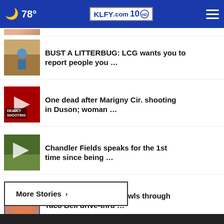🌙 78° | KLFY.com 10
[Figure (screenshot): Partially visible thumbnail of a news story at top]
BUST A LITTERBUG: LCG wants you to report people you …
One dead after Marigny Cir. shooting in Duson; woman …
Chandler Fields speaks for the 1st time since being …
Naked St. Pete man crawls through Taco Bell drive-thru …
More Stories ›